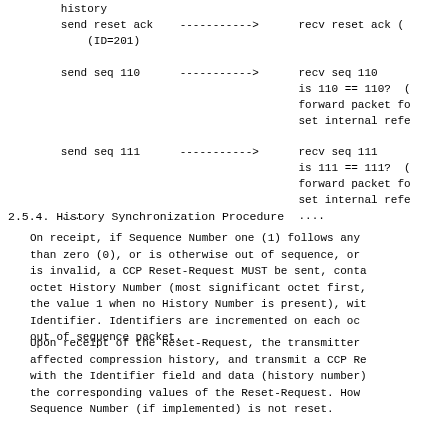[Figure (other): Sequence diagram showing send/receive flow with arrows. Shows: 'history', 'send reset ack (ID=201)' with arrow to 'recv reset ack (1...)', 'send seq 110' with arrow to 'recv seq 110 / is 110 == 110? / forward packet fo... / set internal refe...', 'send seq 111' with arrow to 'recv seq 111 / is 111 == 111? ( / forward packet fo... / set internal refe...', then '....' on both sides.]
2.5.4.  History Synchronization Procedure
On receipt, if Sequence Number one (1) follows any than zero (0), or is otherwise out of sequence, or is invalid, a CCP Reset-Request MUST be sent, conta octet History Number (most significant octet first, the value 1 when no History Number is present), wit Identifier.  Identifiers are incremented on each oc out of sequence packet.
Upon receipt of the Reset-Request, the transmitter affected compression history, and transmit a CCP Re with the Identifier field and data (history number) the corresponding values of the Reset-Request.  How Sequence Number (if implemented) is not reset.